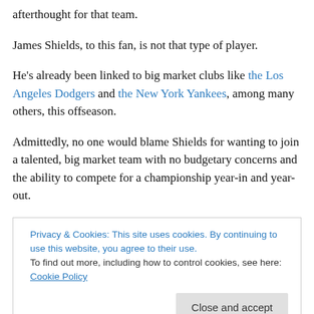afterthought for that team.
James Shields, to this fan, is not that type of player.
He's already been linked to big market clubs like the Los Angeles Dodgers and the New York Yankees, among many others, this offseason.
Admittedly, no one would blame Shields for wanting to join a talented, big market team with no budgetary concerns and the ability to compete for a championship year-in and year-out.
Privacy & Cookies: This site uses cookies. By continuing to use this website, you agree to their use.
To find out more, including how to control cookies, see here: Cookie Policy
Close and accept
simultaneously pulled the hopes of the entire Rays